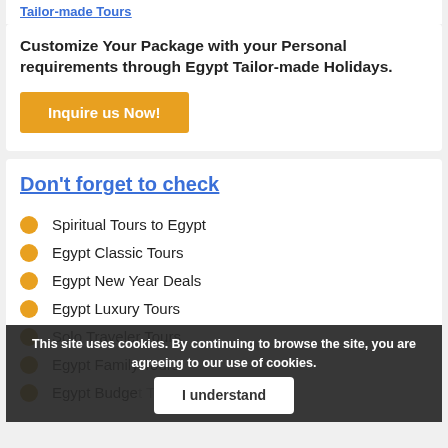Tailor-made Tours
Customize Your Package with your Personal requirements through Egypt Tailor-made Holidays.
Inquire us Now!
Don't forget to check
Spiritual Tours to Egypt
Egypt Classic Tours
Egypt New Year Deals
Egypt Luxury Tours
Solo Traveler Tours
Egypt Family Tours
Egypt Budget Tours
This site uses cookies. By continuing to browse the site, you are agreeing to our use of cookies.
I understand